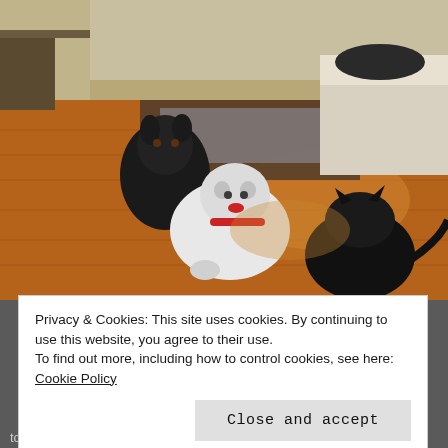[Figure (photo): Three dogs in a living room with hardwood floors. A black dog sits in the background on the left, another black dog is on the right in the foreground, and a white/light-colored pit bull type dog faces the camera in the center. There is a couch with white cushions and a rug in the background.]
Privacy & Cookies: This site uses cookies. By continuing to use this website, you agree to their use.
To find out more, including how to control cookies, see here: Cookie Policy
Close and accept
to save what I could of my more possessions. This is